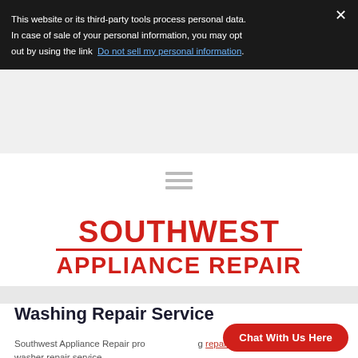This website or its third-party tools process personal data. In case of sale of your personal information, you may opt out by using the link Do not sell my personal information.
[Figure (other): Hamburger menu icon (three horizontal lines) for mobile navigation]
[Figure (logo): Southwest Appliance Repair logo in red bold text with a horizontal line separating SOUTHWEST from APPLIANCE REPAIR]
Washing Repair Service
Southwest Appliance Repair provides washing repair service in San Antonio. Our washer repair service